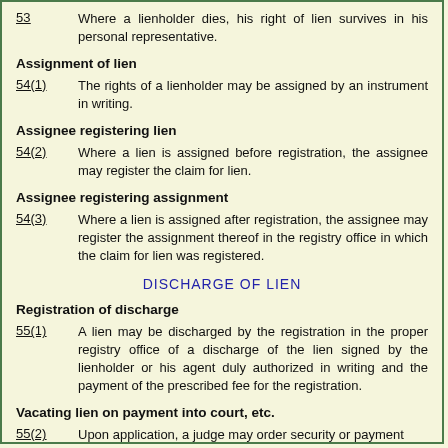53    Where a lienholder dies, his right of lien survives in his personal representative.
Assignment of lien
54(1)    The rights of a lienholder may be assigned by an instrument in writing.
Assignee registering lien
54(2)    Where a lien is assigned before registration, the assignee may register the claim for lien.
Assignee registering assignment
54(3)    Where a lien is assigned after registration, the assignee may register the assignment thereof in the registry office in which the claim for lien was registered.
DISCHARGE OF LIEN
Registration of discharge
55(1)    A lien may be discharged by the registration in the proper registry office of a discharge of the lien signed by the lienholder or his agent duly authorized in writing and the payment of the prescribed fee for the registration.
Vacating lien on payment into court, etc.
55(2)    Upon application, a judge may order security or payment